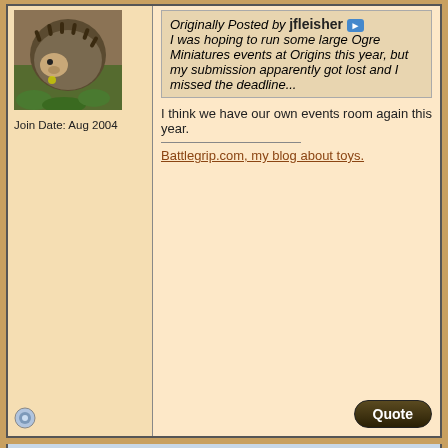[Figure (photo): Avatar photo of a hedgehog or small animal on green leaves/ground]
Join Date: Aug 2004
Originally Posted by jfleisher
I was hoping to run some large Ogre Miniatures events at Origins this year, but my submission apparently got lost and I missed the deadline...
I think we have our own events room again this year.
Battlegrip.com, my blog about toys.
04-24-2019, 08:10 AM
#5
AlexYeager
Join Date: Aug 2004
Re: Origins 2019
There was an issue with event submission, but GAMA has confirmed that everything's now in the system (although still waiting for it to show up in the online grid). As part of our